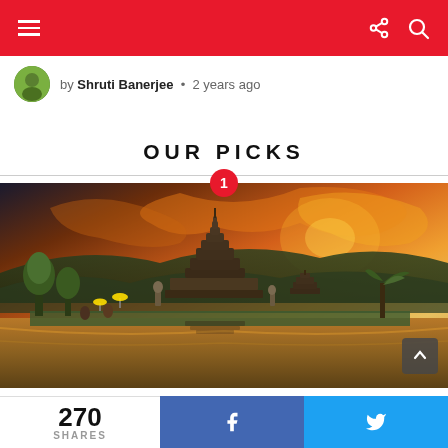navigation bar with hamburger menu, share icon, and search icon
by Shruti Banerjee • 2 years ago
OUR PICKS
[Figure (photo): Balinese temple (Pura Ulun Danu Bratan) at sunset over a lake, with dramatic orange and golden sky, tiered pagoda structure, tropical trees, and reflections on water. A red circle badge with '1' overlays the top center.]
270 SHARES